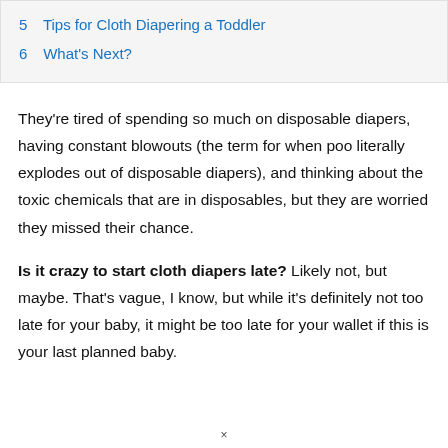5  Tips for Cloth Diapering a Toddler
6  What's Next?
They're tired of spending so much on disposable diapers, having constant blowouts (the term for when poo literally explodes out of disposable diapers), and thinking about the toxic chemicals that are in disposables, but they are worried they missed their chance.
Is it crazy to start cloth diapers late? Likely not, but maybe. That's vague, I know, but while it's definitely not too late for your baby, it might be too late for your wallet if this is your last planned baby.
×